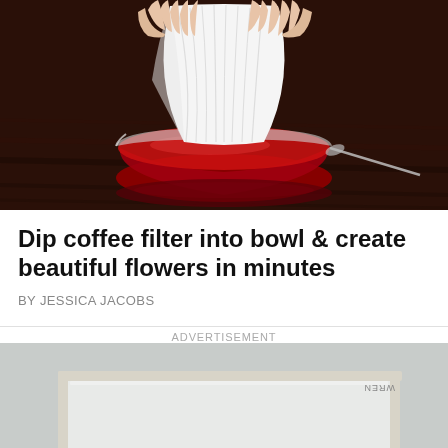[Figure (photo): Hands holding a white coffee filter being dipped into a shallow glass bowl filled with dark red liquid, on a dark wooden surface.]
Dip coffee filter into bowl & create beautiful flowers in minutes
BY JESSICA JACOBS
ADVERTISEMENT
[Figure (photo): A white folding tray table viewed from above, showing its metal frame and legs on a light grey surface. A label reading 'WREN' is visible in the top right corner.]